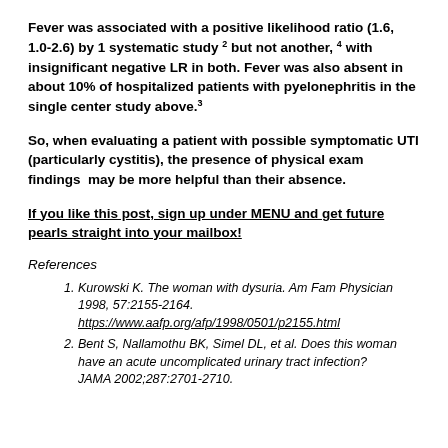Fever was associated with a positive likelihood ratio (1.6, 1.0-2.6) by 1 systematic study 2 but not another, 4 with insignificant negative LR in both. Fever was also absent in about 10% of hospitalized patients with pyelonephritis in the single center study above.3
So, when evaluating a patient with possible symptomatic UTI (particularly cystitis), the presence of physical exam findings  may be more helpful than their absence.
If you like this post, sign up under MENU and get future pearls straight into your mailbox!
References
Kurowski K. The woman with dysuria. Am Fam Physician 1998, 57:2155-2164. https://www.aafp.org/afp/1998/0501/p2155.html
Bent S, Nallamothu BK, Simel DL, et al. Does this woman have an acute uncomplicated urinary tract infection? JAMA 2002;287:2701-2710.